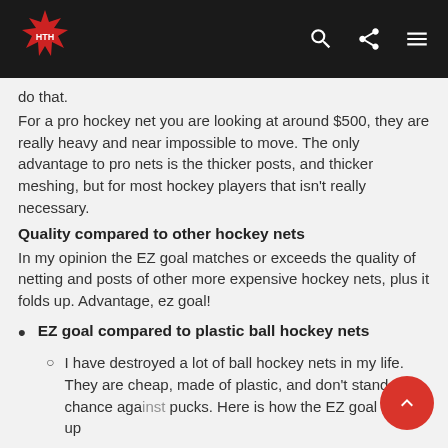HTH Hockey (logo) - navigation header with search, share, and menu icons
do that.
For a pro hockey net you are looking at around $500, they are really heavy and near impossible to move. The only advantage to pro nets is the thicker posts, and thicker meshing, but for most hockey players that isn’t really necessary.
Quality compared to other hockey nets
In my opinion the EZ goal matches or exceeds the quality of netting and posts of other more expensive hockey nets, plus it folds up. Advantage, ez goal!
EZ goal compared to plastic ball hockey nets
I have destroyed a lot of ball hockey nets in my life. They are cheap, made of plastic, and don’t stand a chance against pucks. Here is how the EZ goal stacks up